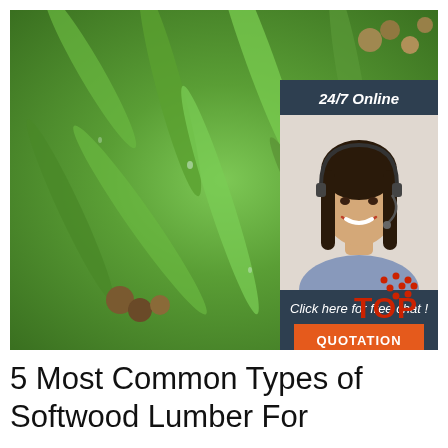[Figure (photo): Close-up photo of eucalyptus leaves with water droplets and seed pods, green foliage filling the frame. An overlay advertisement widget appears in the upper right showing '24/7 Online', a smiling woman with a headset microphone, text 'Click here for free chat!', and an orange button labeled 'QUOTATION'. A red 'TOP' logo with dot pattern appears in the lower right.]
5 Most Common Types of Softwood Lumber For